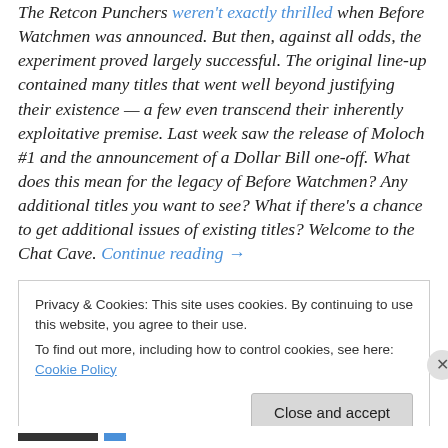The Retcon Punchers weren't exactly thrilled when Before Watchmen was announced. But then, against all odds, the experiment proved largely successful. The original line-up contained many titles that went well beyond justifying their existence — a few even transcend their inherently exploitative premise. Last week saw the release of Moloch #1 and the announcement of a Dollar Bill one-off. What does this mean for the legacy of Before Watchmen? Any additional titles you want to see? What if there's a chance to get additional issues of existing titles? Welcome to the Chat Cave. Continue reading →
Privacy & Cookies: This site uses cookies. By continuing to use this website, you agree to their use.
To find out more, including how to control cookies, see here: Cookie Policy